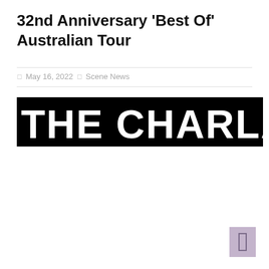32nd Anniversary ‘Best Of’ Australian Tour
May 16, 2022  Scene News
[Figure (logo): The Charlatans band logo — white bold text 'THE CHARLATANS' on a solid black background banner]